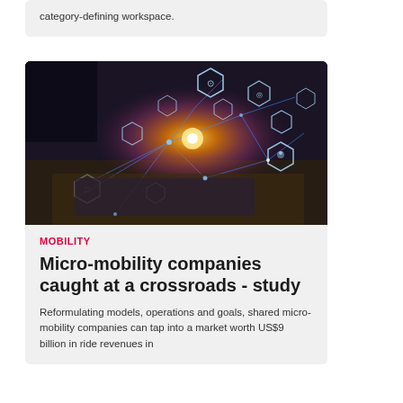category-defining workspace.
[Figure (photo): Hands using a digital tablet with glowing digital icons and network connections floating above it in a dark, illuminated environment]
MOBILITY
Micro-mobility companies caught at a crossroads - study
Reformulating models, operations and goals, shared micro-mobility companies can tap into a market worth US$9 billion in ride revenues in